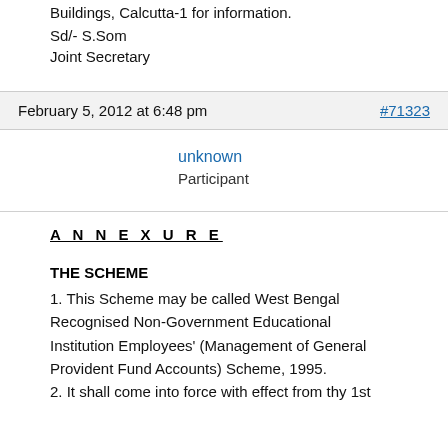Buildings, Calcutta-1 for information.
Sd/- S.Som
Joint Secretary
February 5, 2012 at 6:48 pm    #71323
unknown
Participant
A N N E X U R E
THE SCHEME
1. This Scheme may be called West Bengal Recognised Non-Government Educational Institution Employees' (Management of General Provident Fund Accounts) Scheme, 1995.
2. It shall come into force with effect from thy 1st